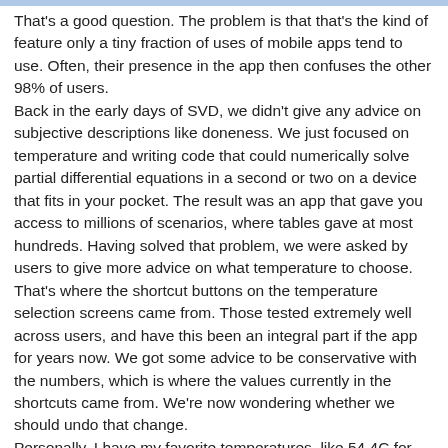That's a good question. The problem is that that's the kind of feature only a tiny fraction of uses of mobile apps tend to use. Often, their presence in the app then confuses the other 98% of users.
Back in the early days of SVD, we didn't give any advice on subjective descriptions like doneness. We just focused on temperature and writing code that could numerically solve partial differential equations in a second or two on a device that fits in your pocket. The result was an app that gave you access to millions of scenarios, where tables gave at most hundreds. Having solved that problem, we were asked by users to give more advice on what temperature to choose. That's where the shortcut buttons on the temperature selection screens came from. Those tested extremely well across users, and have this been an integral part if the app for years now. We got some advice to be conservative with the numbers, which is where the values currently in the shortcuts came from. We're now wondering whether we should undo that change.
Personally, I have my favorite temperatures, like 54.4C for ribeye. I can always select that even if it's not one of the shortcuts.
I also personally like the idea of user-modifiable definitions for